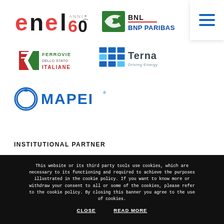[Figure (logo): Enel 60 years logo in red/orange gradient]
[Figure (logo): BNL BNP Paribas logo with green and blue branding]
[Figure (logo): Hamburger menu icon (three horizontal lines, dark blue)]
[Figure (logo): Ferrovie dello Stato Italiane logo in red, white and green]
[Figure (logo): Terna Driving Energy logo with blue solar panel graphic]
[Figure (logo): MAPEI logo in blue with circular icon]
INSTITUTIONAL PARTNER
This website or its third party tools use cookies, which are necessary to its functioning and required to achieve the purposes illustrated in the cookie policy. If you want to know more or withdraw your consent to all or some of the cookies, please refer to the cookie policy. By closing this banner you agree to the use of cookies.
CLOSE
READ MORE